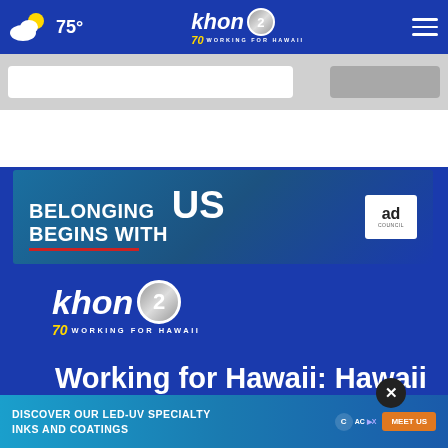75° khon2 Working for Hawaii
[Figure (screenshot): Gray search bar area with white input field and gray button]
[Figure (illustration): Advertisement banner: BELONGING BEGINS WITH US - Ad Council logo]
[Figure (logo): KHON2 Working for Hawaii logo - 70 years]
Working for Hawaii: Hawaii News, Sports, Weather, Live Video
[Figure (screenshot): Popup ad: DISCOVER OUR LED-UV SPECIALTY INKS AND COATINGS - MEET US]
Follow Us